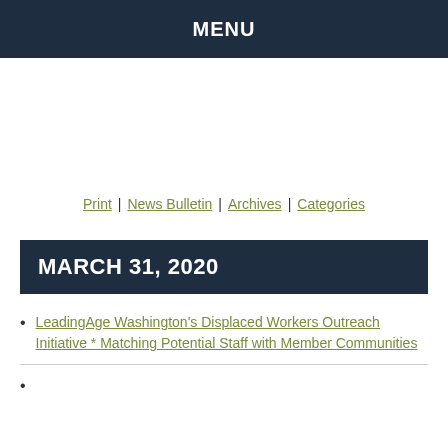MENU
Print | News Bulletin | Archives | Categories
MARCH 31, 2020
LeadingAge Washington's Displaced Workers Outreach Initiative * Matching Potential Staff with Member Communities